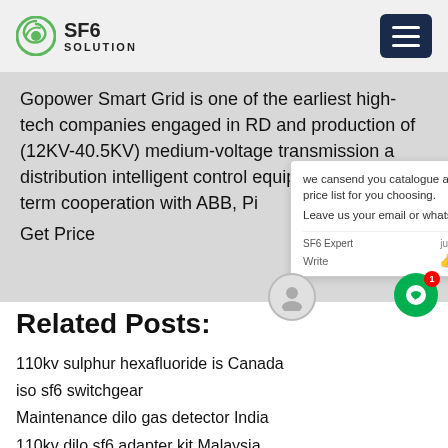SF6 SOLUTION
Gopower Smart Grid is one of the earliest high-tech companies engaged in RD and production of (12KV-40.5KV) medium-voltage transmission and distribution intelligent control equipment. Long-term cooperation with ABB, Pi... Daye Intelligent
Get Price
we cansend you catalogue and price list for you choosing. Leave us your email or whatsapp.
Related Posts:
110kv sulphur hexafluoride is Canada
iso sf6 switchgear
Maintenance dilo gas detector India
110kv dilo sf6 adapter kit Malaysia
500kv sf6 has Bolivia